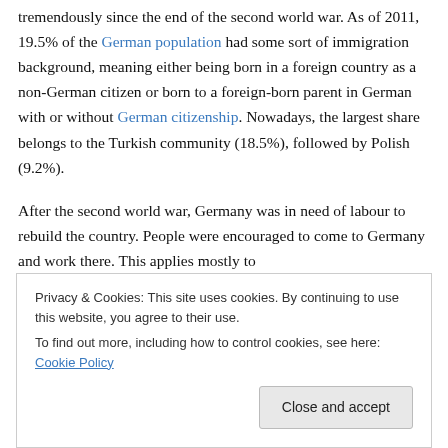tremendously since the end of the second world war. As of 2011, 19.5% of the German population had some sort of immigration background, meaning either being born in a foreign country as a non-German citizen or born to a foreign-born parent in German with or without German citizenship. Nowadays, the largest share belongs to the Turkish community (18.5%), followed by Polish (9.2%).
After the second world war, Germany was in need of labour to rebuild the country. People were encouraged to come to Germany and work there. This applies mostly to
easier to adopt for the migrant workers, since they were
Privacy & Cookies: This site uses cookies. By continuing to use this website, you agree to their use. To find out more, including how to control cookies, see here: Cookie Policy